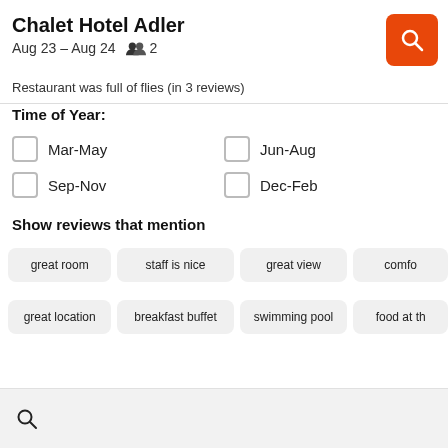Chalet Hotel Adler
Aug 23 – Aug 24   👥 2
Restaurant was full of flies (in 3 reviews)
Time of Year:
Mar-May
Jun-Aug
Sep-Nov
Dec-Feb
Show reviews that mention
great room
staff is nice
great view
comfo
great location
breakfast buffet
swimming pool
food at th